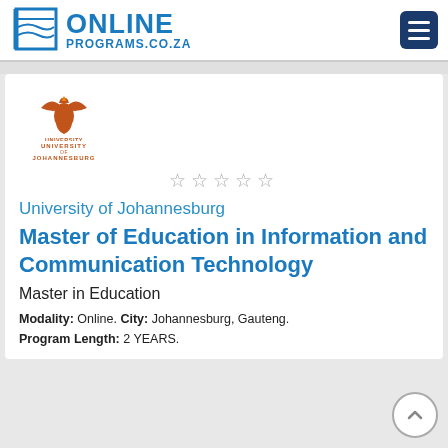ONLINE PROGRAMS.CO.ZA
[Figure (logo): University of Johannesburg logo — orange phoenix/eagle emblem above text UNIVERSITY OF JOHANNESBURG]
★★★★★ (empty stars rating)
University of Johannesburg
Master of Education in Information and Communication Technology
Master in Education
Modality: Online. City: Johannesburg, Gauteng. Program Length: 2 YEARS.